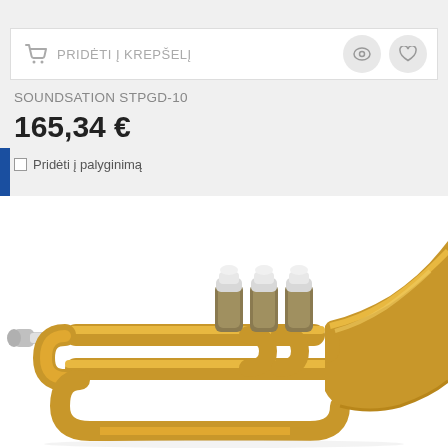[Figure (screenshot): E-commerce toolbar with shopping cart icon, 'PRIDĖTI Į KREPŠELĮ' button, eye icon and heart icon]
SOUNDSATION STPGD-10
165,34 €
Pridėti į palyginimą
[Figure (photo): Gold/brass pocket trumpet (Soundsation STPGD-10) with three silver valves, silver mouthpiece, viewed from the left side on white background]